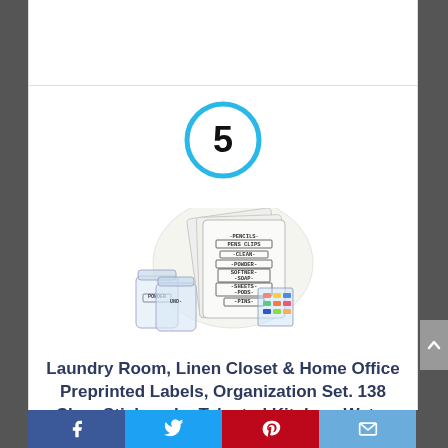[Figure (other): Number 5 inside a cyan/blue circle, used as a ranking or step indicator]
[Figure (photo): Product image showing laundry room organization label stickers set with jars and colorful labels]
Laundry Room, Linen Closet & Home Office Preprinted Labels, Organization Set. 138 Clear Stickers by Talented Kitchen. Water Resistant Label to Organize & Declutter
Social share bar with Facebook, Twitter, Pinterest, and Email buttons